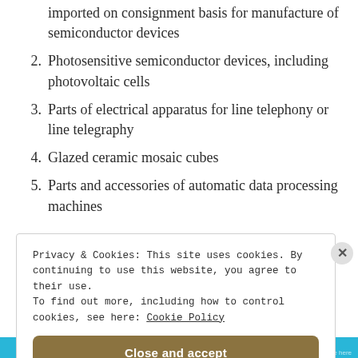imported on consignment basis for manufacture of semiconductor devices
2. Photosensitive semiconductor devices, including photovoltaic cells
3. Parts of electrical apparatus for line telephony or line telegraphy
4. Glazed ceramic mosaic cubes
5. Parts and accessories of automatic data processing machines
Privacy & Cookies: This site uses cookies. By continuing to use this website, you agree to their use. To find out more, including how to control cookies, see here: Cookie Policy
Close and accept